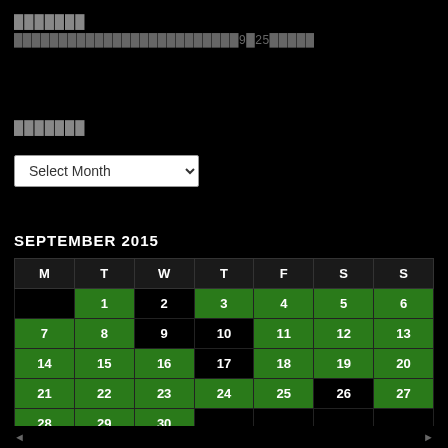███████
█████████████████████████9█25█████
███████
Select Month
SEPTEMBER 2015
| M | T | W | T | F | S | S |
| --- | --- | --- | --- | --- | --- | --- |
|  | 1 | 2 | 3 | 4 | 5 | 6 |
| 7 | 8 | 9 | 10 | 11 | 12 | 13 |
| 14 | 15 | 16 | 17 | 18 | 19 | 20 |
| 21 | 22 | 23 | 24 | 25 | 26 | 27 |
| 28 | 29 | 30 |  |  |  |  |